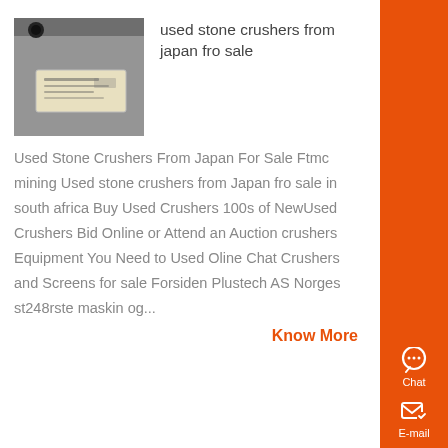[Figure (photo): Photo of a gray machine or cabinet surface with a label/nameplate attached]
used stone crushers from japan fro sale
Used Stone Crushers From Japan For Sale Ftmc mining Used stone crushers from Japan fro sale in south africa Buy Used Crushers 100s of NewUsed Crushers Bid Online or Attend an Auction crushers Equipment You Need to Used Oline Chat Crushers and Screens for sale Forsiden Plustech AS Norges st248rste maskin og...
Know More